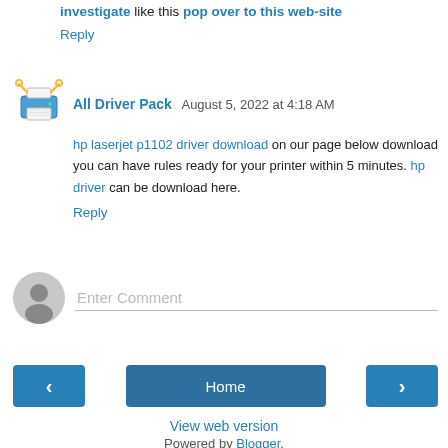investigate like this pop over to this web-site
Reply
All Driver Pack August 5, 2022 at 4:18 AM
hp laserjet p1102 driver download on our page below download you can have rules ready for your printer within 5 minutes. hp driver can be download here.
Reply
Enter Comment
Home
View web version
Powered by Blogger.